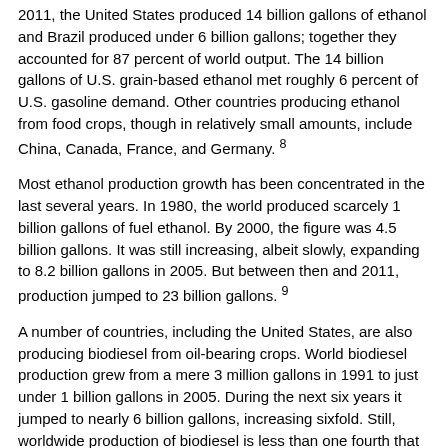2011, the United States produced 14 billion gallons of ethanol and Brazil produced under 6 billion gallons; together they accounted for 87 percent of world output. The 14 billion gallons of U.S. grain-based ethanol met roughly 6 percent of U.S. gasoline demand. Other countries producing ethanol from food crops, though in relatively small amounts, include China, Canada, France, and Germany. 8
Most ethanol production growth has been concentrated in the last several years. In 1980, the world produced scarcely 1 billion gallons of fuel ethanol. By 2000, the figure was 4.5 billion gallons. It was still increasing, albeit slowly, expanding to 8.2 billion gallons in 2005. But between then and 2011, production jumped to 23 billion gallons. 9
A number of countries, including the United States, are also producing biodiesel from oil-bearing crops. World biodiesel production grew from a mere 3 million gallons in 1991 to just under 1 billion gallons in 2005. During the next six years it jumped to nearly 6 billion gallons, increasing sixfold. Still, worldwide production of biodiesel is less than one fourth that of ethanol. 10
The production of biodiesel is much more evenly distributed among countries than that of ethanol. The top five producers are the United States, Germany, Argentina, Brazil, and France, with production ranging from 840 million gallons per year in the United States to 420 million gallons in France. 11